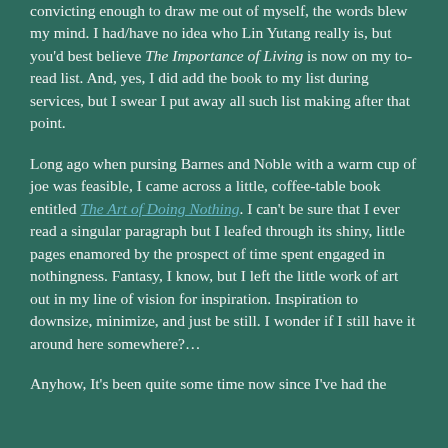convicting enough to draw me out of myself, the words blew my mind. I had/have no idea who Lin Yutang really is, but you'd best believe The Importance of Living is now on my to-read list. And, yes, I did add the book to my list during services, but I swear I put away all such list making after that point.
Long ago when pursing Barnes and Noble with a warm cup of joe was feasible, I came across a little, coffee-table book entitled The Art of Doing Nothing. I can't be sure that I ever read a singular paragraph but I leafed through its shiny, little pages enamored by the prospect of time spent engaged in nothingness. Fantasy, I know, but I left the little work of art out in my line of vision for inspiration. Inspiration to downsize, minimize, and just be still. I wonder if I still have it around here somewhere?…
Anyhow, It's been quite some time now since I've had the